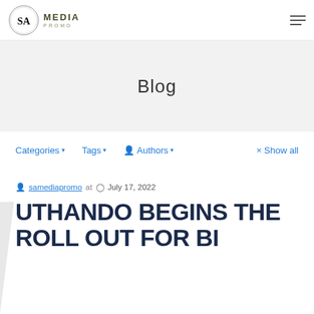SA Media Promo — Navigation header with logo and hamburger menu
Blog
Categories ▾   Tags ▾   Authors ▾   × Show all
samediapromo at  July 17, 2022
UTHANDO BEGINS THE ROLL OUT FOR BI...